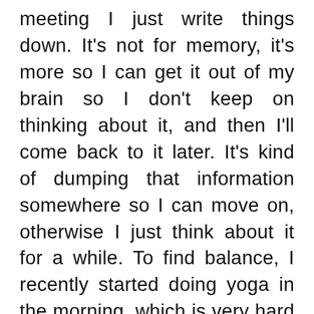meeting I just write things down. It's not for memory, it's more so I can get it out of my brain so I don't keep on thinking about it, and then I'll come back to it later. It's kind of dumping that information somewhere so I can move on, otherwise I just think about it for a while. To find balance, I recently started doing yoga in the morning, which is very hard to do because I'm always thinking. Rather than having my mind full, it helps me be more mindful of where I'm at and being present. They really want you to focus